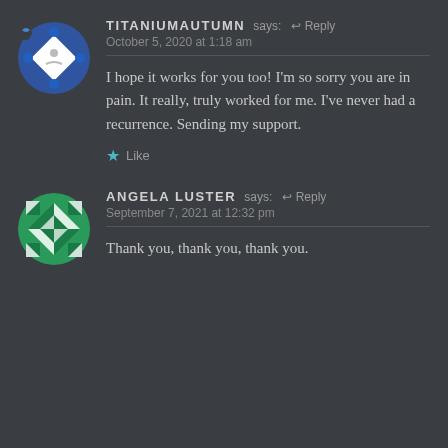[Figure (illustration): Avatar for TitaniumAutumn: a circular/diamond shaped icon with blue background, white diamond shape, and small decorative elements]
TITANIUMAUTUMN says: Reply
October 5, 2020 at 1:18 am
I hope it works for you too! I'm so sorry you are in pain. It really, truly worked for me. I've never had a recurrence. Sending my support.
Like
[Figure (illustration): Avatar for Angela Luster: a circular icon with green background and white quilt/geometric pattern]
ANGELA LUSTER says: Reply
September 7, 2021 at 12:32 pm
Thank you, thank you, thank you.